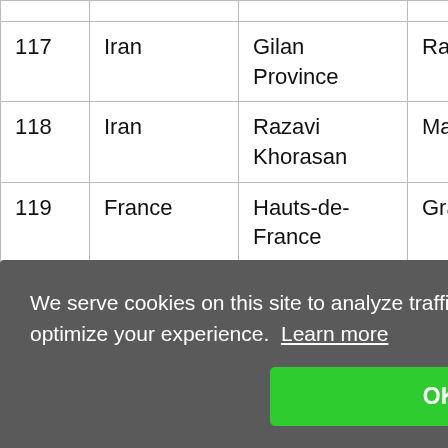| # | Country | Region | City | Value |
| --- | --- | --- | --- | --- |
| 117 | Iran | Gilan Province | Rasht | 1772 |
| 118 | Iran | Razavi Khorasan | Mashhad | 563 |
| 119 | France | Hauts-de-France | Gravelines | 8230 |
| 120 | Kazakhstan | Almaty | Almaty | 3670 |
| 121 | Azerbaijan | Baku City | Baku | 1403( |
| 122 | United Kingdom | England | London | 1855( |
| 123 | Iran | Tehran | Tehran | 1259( |
| 124 | Iran | Tehran | Tehran | 1168( |
| 125 | Iran | Tehran | Tehran | 1957 |
| 126 | Poland | Kujawsko-Pomorskie | Torun | 2680( |
We serve cookies on this site to analyze traffic, remember your preferences, and optimize your experience. Learn more